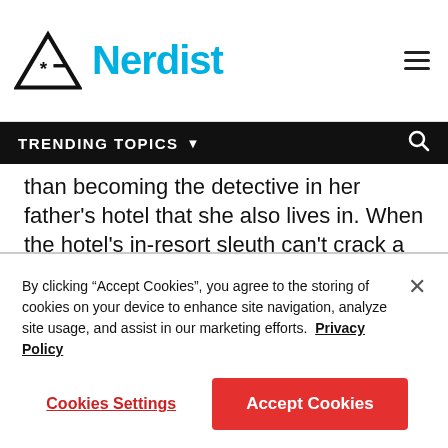Nerdist
TRENDING TOPICS
than becoming the detective in her father's hotel that she also lives in. When the hotel's in-resort sleuth can't crack a case, he agrees to mentor Goldie in exchange for her street smarts and her mystery solving skills. This is one of the sweetest and coolest comics we've come across in a really long time and Goldie is an iconic new detective for the ages!
Alice Greed
By clicking “Accept Cookies”, you agree to the storing of cookies on your device to enhance site navigation, analyze site usage, and assist in our marketing efforts. Privacy Policy
Cookies Settings | Accept Cookies